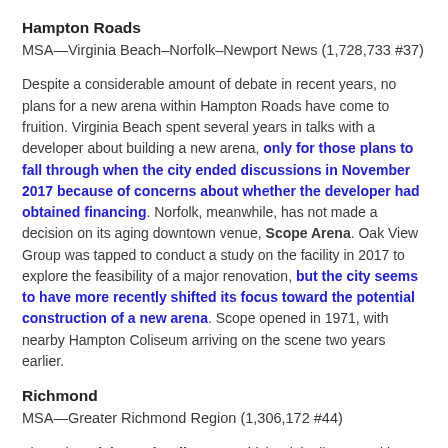Hampton Roads
MSA—Virginia Beach–Norfolk–Newport News (1,728,733 #37)
Despite a considerable amount of debate in recent years, no plans for a new arena within Hampton Roads have come to fruition. Virginia Beach spent several years in talks with a developer about building a new arena, only for those plans to fall through when the city ended discussions in November 2017 because of concerns about whether the developer had obtained financing. Norfolk, meanwhile, has not made a decision on its aging downtown venue, Scope Arena. Oak View Group was tapped to conduct a study on the facility in 2017 to explore the feasibility of a major renovation, but the city seems to have more recently shifted its focus toward the potential construction of a new arena. Scope opened in 1971, with nearby Hampton Coliseum arriving on the scene two years earlier.
Richmond
MSA—Greater Richmond Region (1,306,172 #44)
The aging Richmond Coliseum—which originally opened in